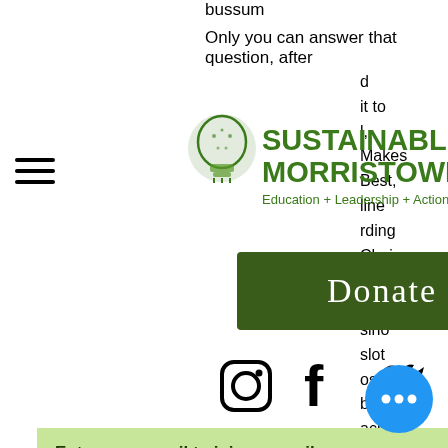bussum
Only you can answer that question, after
[Figure (logo): Sustainable Morristown logo with lightbulb icon and text 'SUSTAINABLE MORRISTOWN Education + Leadership + Action']
[Figure (other): Dark green Donate button]
[Figure (other): Social media icons: Instagram, Facebook, Twitter]
Enter your email to join our mailn...
Join
ta
Rica some casino table games have d names, others have different names an different rules. tesco online delivery bitcoin